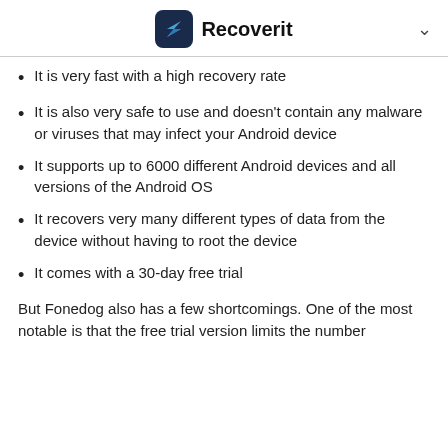Recoverit
It is very fast with a high recovery rate
It is also very safe to use and doesn't contain any malware or viruses that may infect your Android device
It supports up to 6000 different Android devices and all versions of the Android OS
It recovers very many different types of data from the device without having to root the device
It comes with a 30-day free trial
But Fonedog also has a few shortcomings. One of the most notable is that the free trial version limits the number